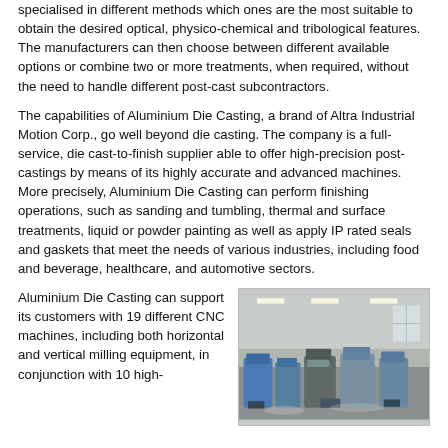specialised in different methods which ones are the most suitable to obtain the desired optical, physico-chemical and tribological features. The manufacturers can then choose between different available options or combine two or more treatments, when required, without the need to handle different post-cast subcontractors.
The capabilities of Aluminium Die Casting, a brand of Altra Industrial Motion Corp., go well beyond die casting. The company is a full-service, die cast-to-finish supplier able to offer high-precision post-castings by means of its highly accurate and advanced machines. More precisely, Aluminium Die Casting can perform finishing operations, such as sanding and tumbling, thermal and surface treatments, liquid or powder painting as well as apply IP rated seals and gaskets that meet the needs of various industries, including food and beverage, healthcare, and automotive sectors.
Aluminium Die Casting can support its customers with 19 different CNC machines, including both horizontal and vertical milling equipment, in conjunction with 10 high-
[Figure (photo): Interior photo of a factory/workshop showing CNC machines and industrial equipment in a large hall with overhead lighting.]